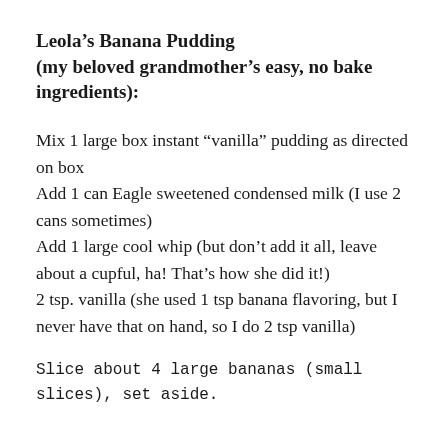Leola's Banana Pudding (my beloved grandmother's easy, no bake ingredients):
Mix 1 large box instant “vanilla” pudding as directed on box
Add 1 can Eagle sweetened condensed milk (I use 2 cans sometimes)
Add 1 large cool whip (but don’t add it all, leave about a cupful, ha! That’s how she did it!)
2 tsp. vanilla (she used 1 tsp banana flavoring, but I never have that on hand, so I do 2 tsp vanilla)
Slice about 4 large bananas (small slices), set aside.